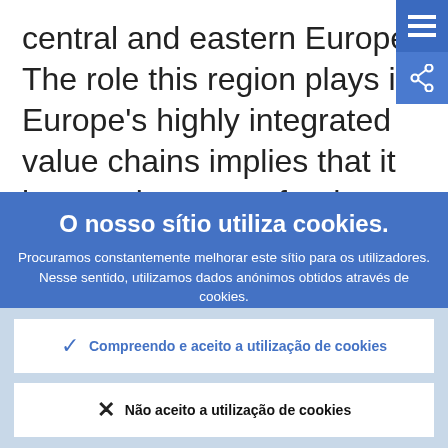central and eastern Europe. The role this region plays in Europe's highly integrated value chains implies that it is more important for the euro area in terms of
[Figure (screenshot): Blue menu hamburger icon button in top-right corner]
[Figure (screenshot): Share icon button below menu icon]
O nosso sítio utiliza cookies.
Procuramos constantemente melhorar este sítio para os utilizadores. Nesse sentido, utilizamos dados anónimos obtidos através de cookies.
Mais informação sobre a forma como utilizamos cookies
Compreendo e aceito a utilização de cookies
Não aceito a utilização de cookies